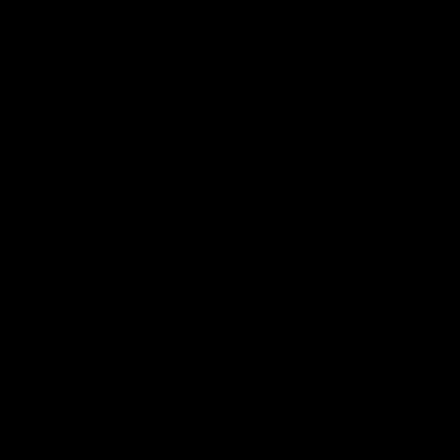ids_info = 66
reputation =
tradelane_sp
behavior = N
difficulty_lev
loadout = tra
pilot = pilot_s

[zone]
nickname =
pos = 38767
rotate = 0, -4
shape = BOX
size = 1602,
comment = .
lane_id = br0
tradelane_do
sort = 8
toughness =
density = 6
repop_time =
max_battle_
pop_type = n
relief_time =
faction_weig
faction_weig
[fa